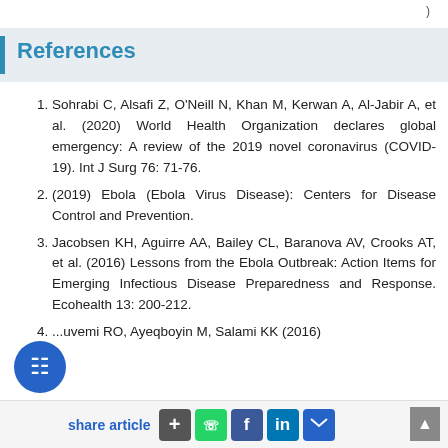References
Sohrabi C, Alsafi Z, O'Neill N, Khan M, Kerwan A, Al-Jabir A, et al. (2020) World Health Organization declares global emergency: A review of the 2019 novel coronavirus (COVID-19). Int J Surg 76: 71-76.
(2019) Ebola (Ebola Virus Disease): Centers for Disease Control and Prevention.
Jacobsen KH, Aguirre AA, Bailey CL, Baranova AV, Crooks AT, et al. (2016) Lessons from the Ebola Outbreak: Action Items for Emerging Infectious Disease Preparedness and Response. Ecohealth 13: 200-212.
...uvemi RO, Ayeqboyin M, Salami KK (2016)
share article